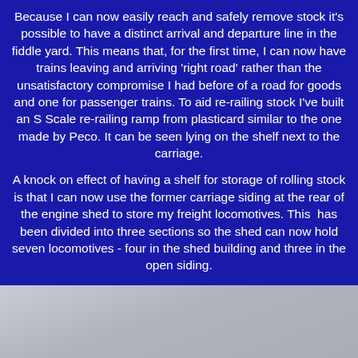Because I can now easily reach and safely remove stock it's possible to have a distinct arrival and departure line in the fiddle yard. This means that, for the first time, I can now have trains leaving and arriving 'right road' rather than the unsatisfactory compromise I had before of a road for goods and one for passenger trains. To aid re-railing stock I've built an S Scale re-railing ramp from plasticard similar to the one made by Peco. It can be seen lying on the shelf next to the carriage.
A knock on effect of having a shelf for storage of rolling stock is that I can now use the former carriage siding at the rear of the engine shed to store my freight locomotives. This  has been divided into three sections so the shed can now hold seven locomotives - four in the shed building and three in the open siding.
[Figure (photo): A light grey/silver toned photograph, mostly washed out, showing what appears to be a model railway scene or fiddle yard shelf area.]